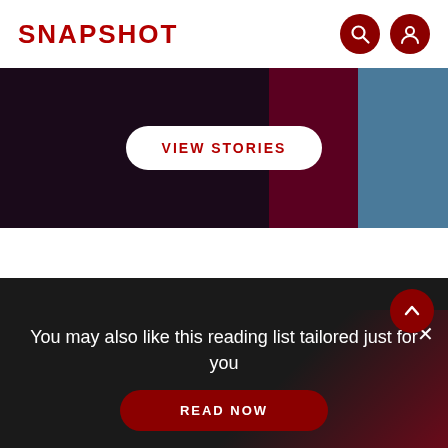SNAPSHOT
[Figure (screenshot): Stories banner with dark background and 'VIEW STORIES' button]
[Figure (logo): Canon logo with tagline 'Delighting You Always']
TERMS AND CONDITIONS
PRIVACY POLICY
You may also like this reading list tailored just for you
READ NOW